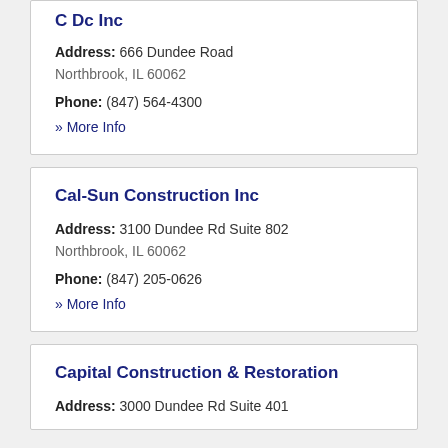C Dc Inc
Address: 666 Dundee Road Northbrook, IL 60062
Phone: (847) 564-4300
» More Info
Cal-Sun Construction Inc
Address: 3100 Dundee Rd Suite 802 Northbrook, IL 60062
Phone: (847) 205-0626
» More Info
Capital Construction & Restoration
Address: 3000 Dundee Rd Suite 401